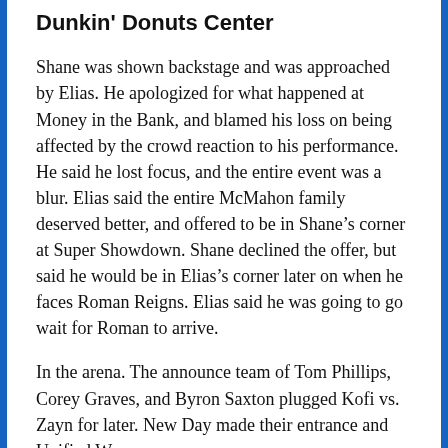Dunkin' Donuts Center
Shane was shown backstage and was approached by Elias. He apologized for what happened at Money in the Bank, and blamed his loss on being affected by the crowd reaction to his performance. He said he lost focus, and the entire event was a blur. Elias said the entire McMahon family deserved better, and offered to be in Shane’s corner at Super Showdown. Shane declined the offer, but said he would be in Elias’s corner later on when he faces Roman Reigns. Elias said he was going to go wait for Roman to arrive.
In the arena. The announce team of Tom Phillips, Corey Graves, and Byron Saxton plugged Kofi vs. Zayn for later. New Day made their entrance and Unified We—